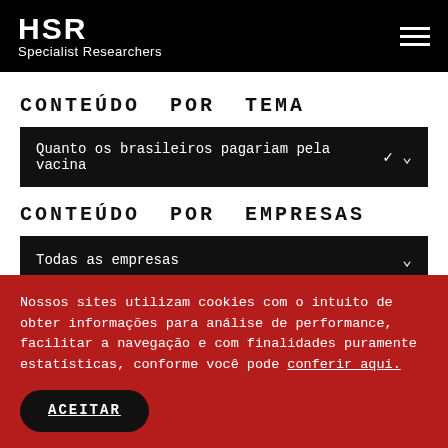HSR Specialist Researchers
CONTEÚDO POR TEMA
Quanto os brasileiros pagariam pela vacina
CONTEÚDO POR EMPRESAS
Todas as empresas
Nossos sites utilizam cookies com o intuito de obter informações para análise de performance, facilitar a navegação e com finalidades puramente estatísticas, conforme você pode conferir aqui.
ACEITAR